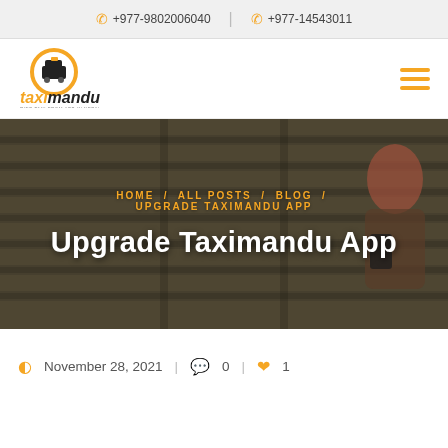+977-9802006040  |  +977-14543011
[Figure (logo): Taximandu logo — circular icon with taxi silhouette, orange ring, text 'taximandu' below]
[Figure (illustration): Hero banner with blurred/slatted background and a person using a phone on the right side]
HOME / ALL POSTS / BLOG / UPGRADE TAXIMANDU APP
Upgrade Taximandu App
November 28, 2021  |  0  |  1